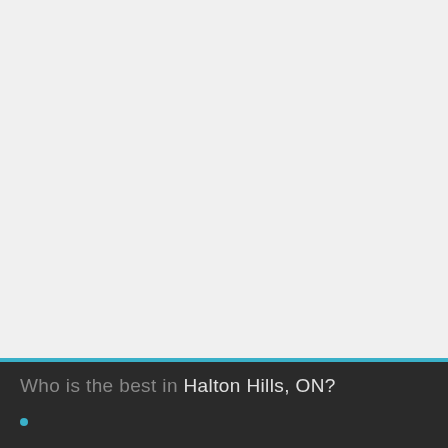[Figure (other): Large light gray empty content area taking up the top portion of the page]
Who is the best in Halton Hills, ON?
• [partial link text cut off at bottom]